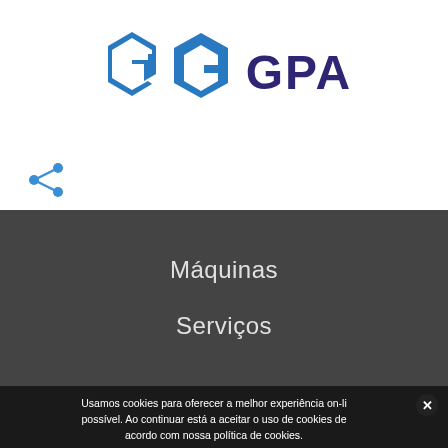[Figure (logo): GPA company logo: blue geometric G-shaped hexagon icon with dark purple text 'GPA' to the right]
[Figure (other): Share icon (blue network/share symbol) on the left side]
Máquinas
Serviços
Usamos cookies para oferecer a melhor experiência on-line possível. Ao continuar está a aceitar o uso de cookies de acordo com nossa política de cookies.
Aceito  Não Aceito  Centro de Privacidade